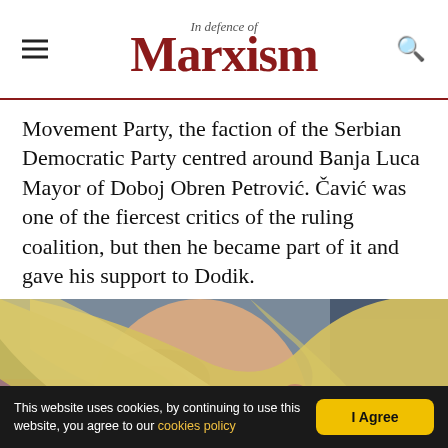In Defence of Marxism
Movement Party, the faction of the Serbian Democratic Party centred around Banja Luca Mayor of Doboj Obren Petrović. Čavić was one of the fiercest critics of the ruling coalition, but then he became part of it and gave his support to Dodik.
[Figure (photo): Close-up photograph of a person with blonde hair, showing a bleeding ear injury, apparently at a protest or public event.]
This website uses cookies, by continuing to use this website, you agree to our cookies policy  I Agree